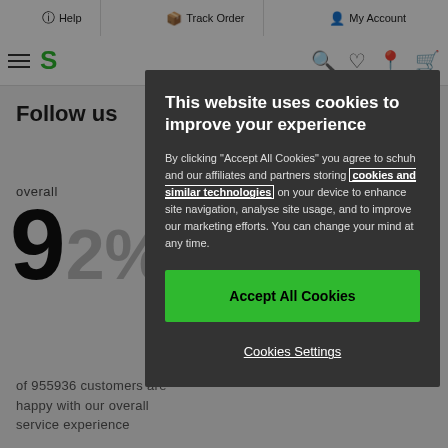Help | Track Order | My Account
[Figure (screenshot): Schuh website header with hamburger menu, green logo, search, wishlist, location, and bag icons]
Follow us
overall
92%
of 955936 customers are happy with our overall service experience
This website uses cookies to improve your experience
By clicking "Accept All Cookies" you agree to schuh and our affiliates and partners storing cookies and similar technologies on your device to enhance site navigation, analyse site usage, and to improve our marketing efforts. You can change your mind at any time.
Accept All Cookies
Cookies Settings